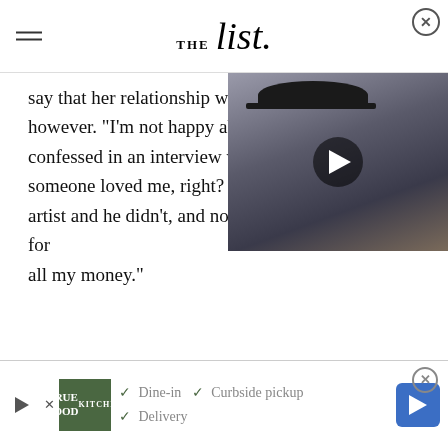THE list
say that her relationship with however. "I'm not happy about confessed in an interview with someone loved me, right? Tu artist and he didn't, and now he's coming after me for all my money."
[Figure (photo): Man wearing a wide-brimmed black hat and black face mask, with people in background, video thumbnail with play button]
The divorce was finalized in 2018, and Blige became free from a partnership that no longer served her.
Starring in Mudbound helped Mary J
[Figure (other): Advertisement banner: True Food Kitchen - Dine-in, Curbside pickup, Delivery]